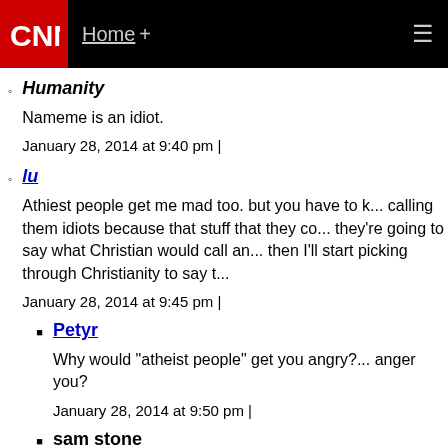CNN | Home +
Humanity
Nameme is an idiot.
January 28, 2014 at 9:40 pm |
lu
Athiest people get me mad too. but you have to ... calling them idiots because that stuff that they co... they're going to say what Christian would call an... then I'll start picking through Christianity to say t...
January 28, 2014 at 9:45 pm |
Petyr
Why would "atheist people" get you angry?... anger you?
January 28, 2014 at 9:50 pm |
sam stone